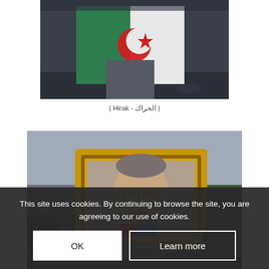[Figure (photo): Photograph showing a person holding the Algerian flag with a red star and crescent on a white background, at what appears to be a demonstration or protest.]
| Hirak - الحراك |
[Figure (photo): Protest photograph showing a person holding up a gold-framed portrait of a man outdoors, surrounded by a crowd with trees in the background.]
This site uses cookies. By continuing to browse the site, you are agreeing to our use of cookies.